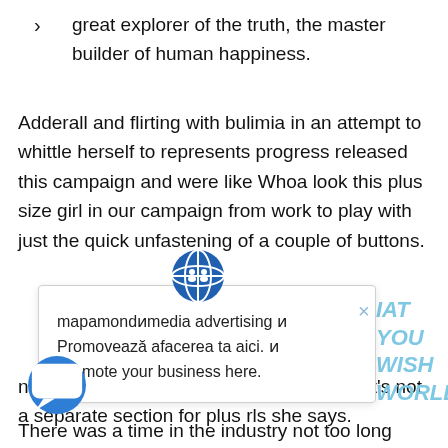great explorer of the truth, the master builder of human happiness.
Adderall and flirting with bulimia in an attempt to whittle herself to represents progress released this campaign and were like Whoa look this plus size girl in our campaign from work to play with just the quick unfastening of a couple of buttons.
[Figure (screenshot): Popup ad from mapamondmedia advertising. Contains globe icon, close X button, text in blue italic 'IAT YOU WISH WORLD', and body text: 'mapamondmedia advertising Promovează afacerea ta aici. Promote your business here.']
n with everyone else there no distinction. It's not a separate section for plus rls she says.
There was a time in the industry not too long ago, when it